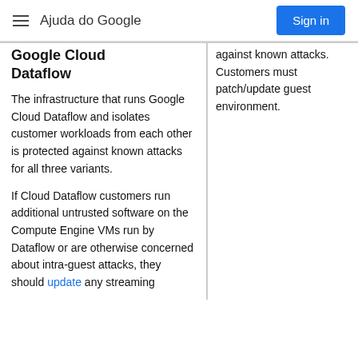Ajuda do Google
Google Cloud Dataflow
The infrastructure that runs Google Cloud Dataflow and isolates customer workloads from each other is protected against known attacks for all three variants.
If Cloud Dataflow customers run additional untrusted software on the Compute Engine VMs run by Dataflow or are otherwise concerned about intra-guest attacks, they should update any streaming
against known attacks. Customers must patch/update guest environment.